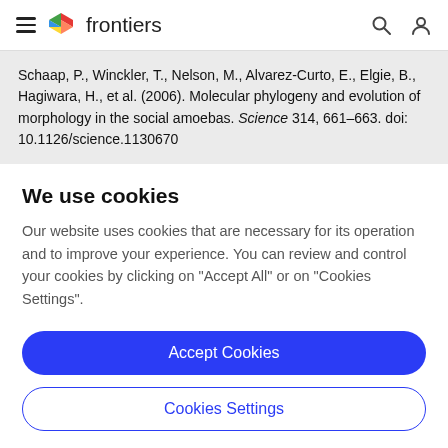frontiers
Schaap, P., Winckler, T., Nelson, M., Alvarez-Curto, E., Elgie, B., Hagiwara, H., et al. (2006). Molecular phylogeny and evolution of morphology in the social amoebas. Science 314, 661–663. doi: 10.1126/science.1130670
We use cookies
Our website uses cookies that are necessary for its operation and to improve your experience. You can review and control your cookies by clicking on "Accept All" or on "Cookies Settings".
Accept Cookies
Cookies Settings